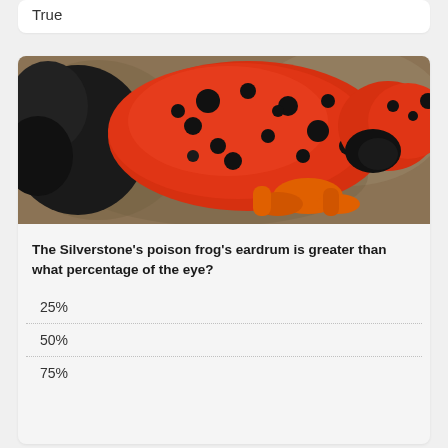True
[Figure (photo): Close-up photo of a Silverstone's poison frog, showing its bright red and black patterned body on a leaf background.]
The Silverstone’s poison frog’s eardrum is greater than what percentage of the eye?
25%
50%
75%